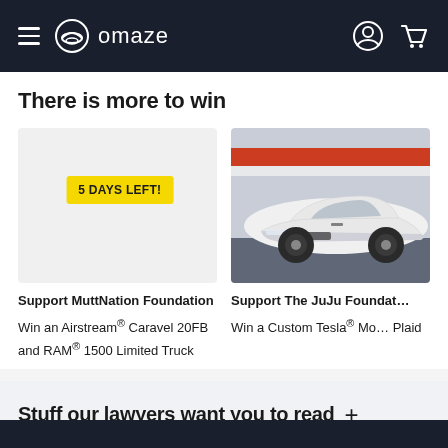omaze
There is more to win
[Figure (photo): Card with yellow badge reading '5 DAYS LEFT!' over a blank/white card area for MuttNation Foundation prize]
Support MuttNation Foundation
Win an Airstream® Caravel 20FB and RAM® 1500 Limited Truck
[Figure (photo): Photo of a white custom Tesla Model S Plaid sports car with lowered suspension in front of a red and white background]
Support The JuJu Foundat…
Win a Custom Tesla® Mo… Plaid
Stuff our lawyers want you to read +